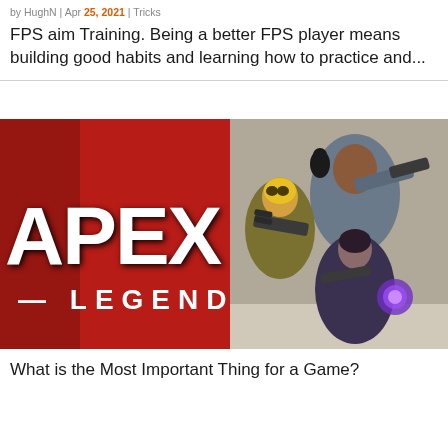by HughN | Apr 25, 2021 | Tricks
FPS aim Training. Being a better FPS player means building good habits and learning how to practice and...
[Figure (illustration): Apex Legends promotional image showing the APEX LEGENDS logo on a red background on the left, and game characters wielding weapons on the right.]
What is the Most Important Thing for a Game?